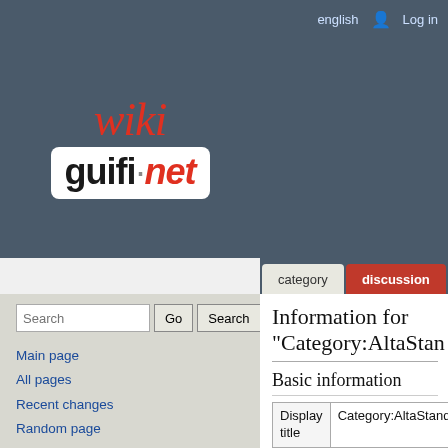english  Log in
[Figure (logo): Wiki guifi.net logo — stylized italic red 'wiki' text above a white rounded box with 'guifi·net' in bold, dot in gray, 'net' in red italic]
category  discussion  view
Information for "Category:AltaStan
Basic information
| Display title | Category:AltaStandar |
| Default sort key | AltaStandar |
| Page length (in bytes) | 428 |
| Page ID | 144 |
| Page content | English (en) |
Main page
All pages
Recent changes
Random page
Help
What links here
Related changes
Special pages
Page information